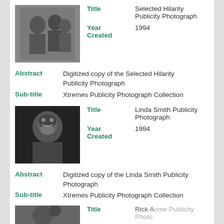[Figure (photo): Black and white group publicity photograph thumbnail for Hilarity]
Title: Selected Hilarity Publicity Photograph
Year Created: 1994
Abstract: Digitized copy of the Selected Hilarity Publicity Photograph
Sub-title: Xtremes Publicity Photograph Collection
[Figure (photo): Black and white portrait publicity photograph thumbnail of Linda Smith]
Title: Linda Smith Publicity Photograph
Year Created: 1994
Abstract: Digitized copy of the Linda Smith Publicity Photograph
Sub-title: Xtremes Publicity Photograph Collection
[Figure (photo): Partial black and white publicity photograph thumbnail at bottom of page]
Title: Rick Acme Publicity Photograph (partially visible)